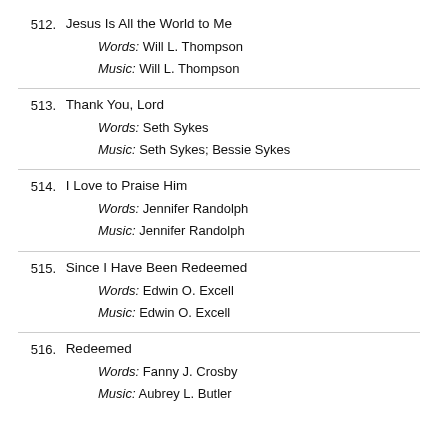512. Jesus Is All the World to Me
Words: Will L. Thompson
Music: Will L. Thompson
513. Thank You, Lord
Words: Seth Sykes
Music: Seth Sykes; Bessie Sykes
514. I Love to Praise Him
Words: Jennifer Randolph
Music: Jennifer Randolph
515. Since I Have Been Redeemed
Words: Edwin O. Excell
Music: Edwin O. Excell
516. Redeemed
Words: Fanny J. Crosby
Music: Aubrey L. Butler